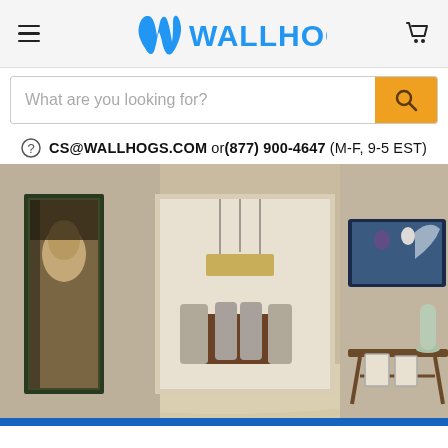WALLHOGS - navigation header with hamburger menu, logo, and cart icon
What are you looking for?
CS@WALLHOGS.COM or(877) 900-4647 (M-F, 9-5 EST)
[Figure (photo): Interior room scene showing a modern hallway/living space with Mona Lisa canvas print on the left wall, a wedding photo canvas print on the right wall above a console table with vase and frames, and a dining area visible through a doorway in the background.]